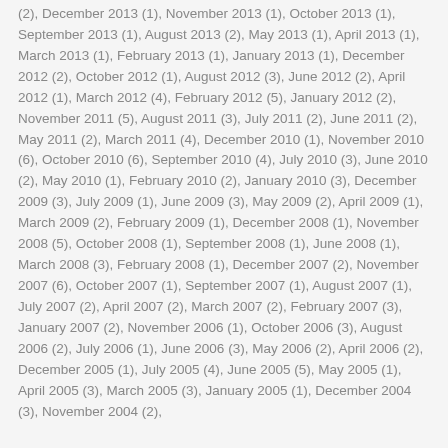(2), December 2013 (1), November 2013 (1), October 2013 (1), September 2013 (1), August 2013 (2), May 2013 (1), April 2013 (1), March 2013 (1), February 2013 (1), January 2013 (1), December 2012 (2), October 2012 (1), August 2012 (3), June 2012 (2), April 2012 (1), March 2012 (4), February 2012 (5), January 2012 (2), November 2011 (5), August 2011 (3), July 2011 (2), June 2011 (2), May 2011 (2), March 2011 (4), December 2010 (1), November 2010 (6), October 2010 (6), September 2010 (4), July 2010 (3), June 2010 (2), May 2010 (1), February 2010 (2), January 2010 (3), December 2009 (3), July 2009 (1), June 2009 (3), May 2009 (2), April 2009 (1), March 2009 (2), February 2009 (1), December 2008 (1), November 2008 (5), October 2008 (1), September 2008 (1), June 2008 (1), March 2008 (3), February 2008 (1), December 2007 (2), November 2007 (6), October 2007 (1), September 2007 (1), August 2007 (1), July 2007 (2), April 2007 (2), March 2007 (2), February 2007 (3), January 2007 (2), November 2006 (1), October 2006 (3), August 2006 (2), July 2006 (1), June 2006 (3), May 2006 (2), April 2006 (2), December 2005 (1), July 2005 (4), June 2005 (5), May 2005 (1), April 2005 (3), March 2005 (3), January 2005 (1), December 2004 (3), November 2004 (2),